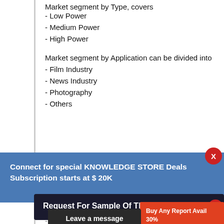Market segment by Type, covers
- Low Power
- Medium Power
- High Power
Market segment by Application can be divided into
- Film Industry
- News Industry
- Photography
- Others
Connect for special KNOWLEDGE STORE Deals
Subscription starts at $ 20K
- Neewer
- Promark International
- GODOX Photo Equipment
- Gradus Group
Request For Sample Of This Report
- Hensle...
- Bronco...
Buy Any Report Avail 30%
Code:
2022
Leave a message